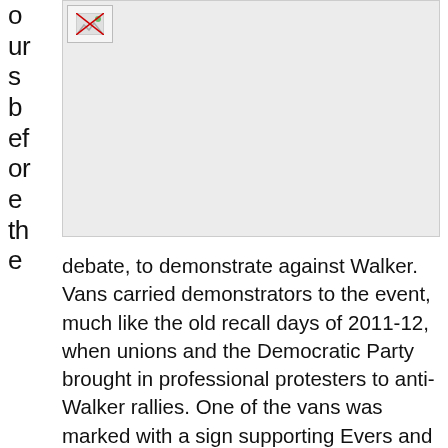o
ur
s
b
ef
or
e
th
e
[Figure (photo): Broken/unloaded image placeholder with grey background]
debate, to demonstrate against Walker. Vans carried demonstrators to the event, much like the old recall days of 2011-12, when unions and the Democratic Party brought in professional protesters to anti-Walker rallies. One of the vans was marked with a sign supporting Evers and Democratic lieutenant governor candidate Mandela